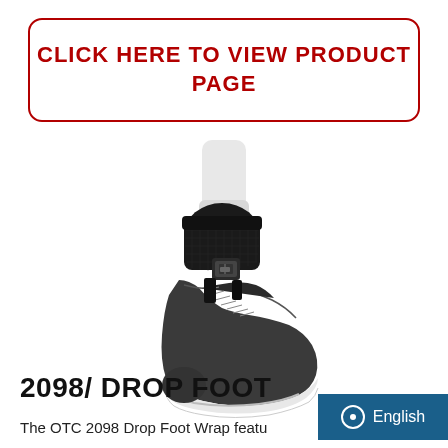CLICK HERE TO VIEW PRODUCT PAGE
[Figure (photo): Photo of OTC 2098 Drop Foot Wrap ankle brace worn on a foot with a black athletic sneaker. The brace is black mesh with a strap and buckle at the front of the ankle.]
2098/ DROP FOOT
The OTC 2098 Drop Foot Wrap featu